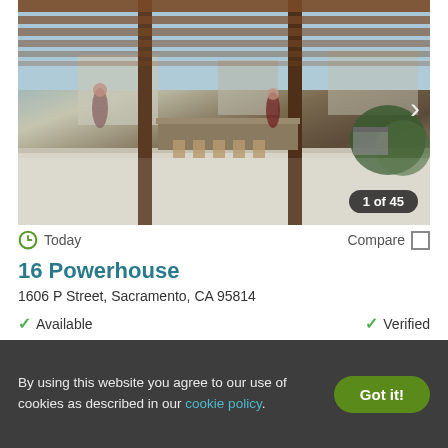[Figure (photo): Outdoor rooftop terrace or patio area with wooden pergola ceiling, modern furniture, bar seating, and greenery. People visible in background. Photo carousel showing 1 of 45.]
Today
Compare
16 Powerhouse
1606 P Street, Sacramento, CA 95814
Available
Verified
1 BED
2 BEDS
Ask for pricing
$3,470+
By using this website you agree to our use of cookies as described in our cookie policy.
Got it!